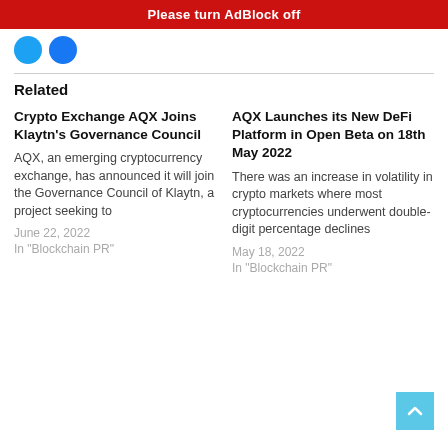Please turn AdBlock off
[Figure (illustration): Two social media icon circles (Twitter blue and Facebook blue)]
Related
Crypto Exchange AQX Joins Klaytn's Governance Council
AQX, an emerging cryptocurrency exchange, has announced it will join the Governance Council of Klaytn, a project seeking to
June 22, 2022
In "Blockchain PR"
AQX Launches its New DeFi Platform in Open Beta on 18th May 2022
There was an increase in volatility in crypto markets where most cryptocurrencies underwent double-digit percentage declines
May 18, 2022
In "Blockchain PR"